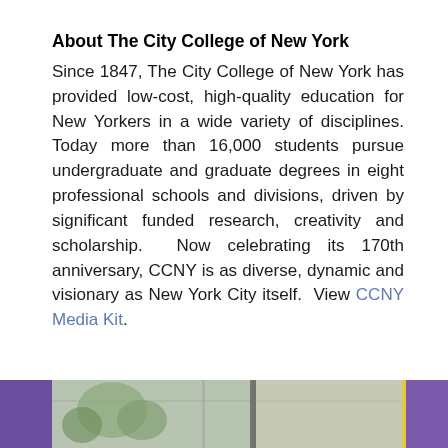About The City College of New York
Since 1847, The City College of New York has provided low-cost, high-quality education for New Yorkers in a wide variety of disciplines. Today more than 16,000 students pursue undergraduate and graduate degrees in eight professional schools and divisions, driven by significant funded research, creativity and scholarship. Now celebrating its 170th anniversary, CCNY is as diverse, dynamic and visionary as New York City itself. View CCNY Media Kit.
[Figure (photo): Bottom strip showing a photo of an indoor/outdoor scene with plants and windows, flanked by purple bars on left and right, with a yellow vertical line accent near the right edge.]